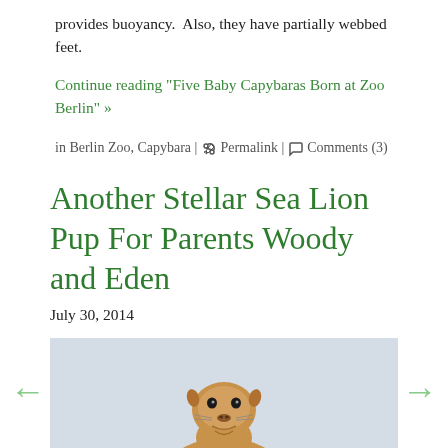provides buoyancy.  Also, they have partially webbed feet.
Continue reading "Five Baby Capybaras Born at Zoo Berlin" »
in Berlin Zoo, Capybara | Permalink | Comments (3)
Another Stellar Sea Lion Pup For Parents Woody and Eden
July 30, 2014
[Figure (photo): A young Steller sea lion pup photographed against a light gray background, looking directly at the camera.]